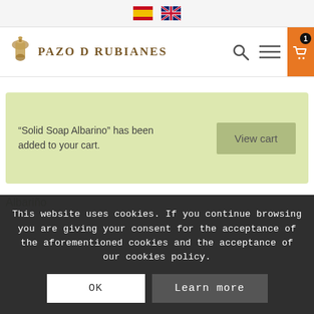Language selector and navigation bar with Pazo de Rubianes logo, search, menu and cart icons
“Solid Soap Albarino” has been added to your cart.
View cart
Albariño
This website uses cookies. If you continue browsing you are giving your consent for the acceptance of the aforementioned cookies and the acceptance of our cookies policy.
OK
Learn more